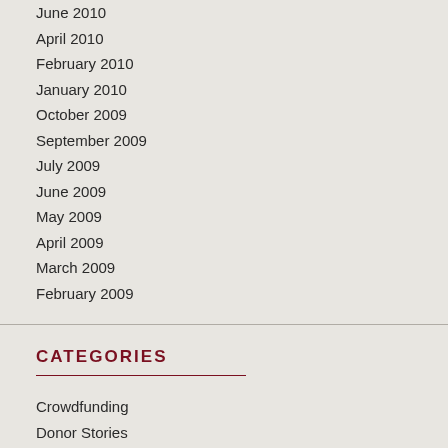June 2010
April 2010
February 2010
January 2010
October 2009
September 2009
July 2009
June 2009
May 2009
April 2009
March 2009
February 2009
CATEGORIES
Crowdfunding
Donor Stories
Higher Education
Illinois Higher Education
Philanthropic Women